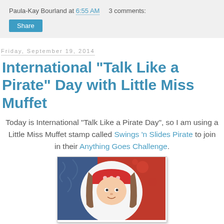Paula-Kay Bourland at 6:55 AM    3 comments:
Share
Friday, September 19, 2014
International "Talk Like a Pirate" Day with Little Miss Muffet
Today is International "Talk Like a Pirate Day", so I am using a Little Miss Muffet stamp called Swings 'n Slides Pirate to join in their Anything Goes Challenge.
[Figure (photo): A handmade card featuring a Little Miss Muffet pirate stamp — a girl with a red bandana hat with skulls, braided hair, against a red paisley and blue swirl embossed background.]